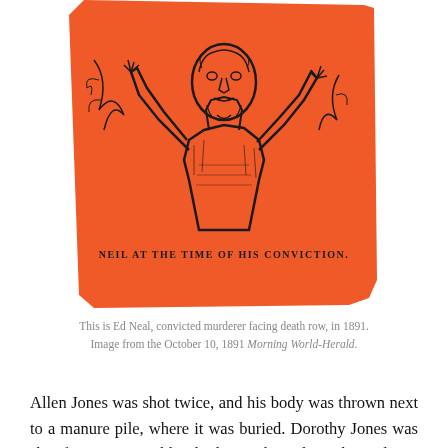[Figure (illustration): An orange-background woodcut or engraving illustration of a man (Ed Neal) shown from the chest up, with hands raised near his head. Below the figure within the orange block is text reading 'NEIL AT THE TIME OF HIS CONVICTION.' in a serif slab typeface.]
This is Ed Neal, convicted murderer facing death row, in 1891. Image from the October 10, 1891 Morning World-Herald.
Allen Jones was shot twice, and his body was thrown next to a manure pile, where it was buried. Dorothy Jones was shot four times, and her body was buried in a hay pile. In addition to having possession of her ring, Neal was seen